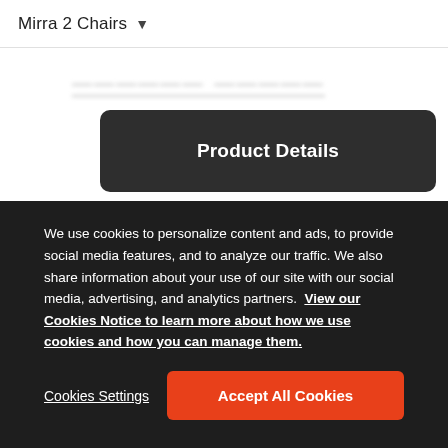Mirra 2 Chairs
Mirra 2 Chairs (blurred heading)
Product Details
[Figure (photo): Partial view of a brown leather chair seat, cropped at the bottom of the page]
We use cookies to personalize content and ads, to provide social media features, and to analyze our traffic. We also share information about your use of our site with our social media, advertising, and analytics partners. View our Cookies Notice to learn more about how we use cookies and how you can manage them.
Cookies Settings
Accept All Cookies